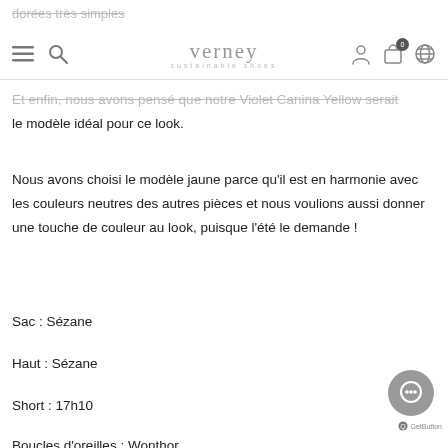dorées très simples
verney sustainable shoes
Et enfin, nous avons pensé que notre Violet Canina Yellow serait le modèle idéal pour ce look.
Nous avons choisi le modèle jaune parce qu'il est en harmonie avec les couleurs neutres des autres pièces et nous voulions aussi donner une touche de couleur au look, puisque l'été le demande !
Sac : Sézane
Haut : Sézane
Short : 17h10
Boucles d'oreilles : Wonthor